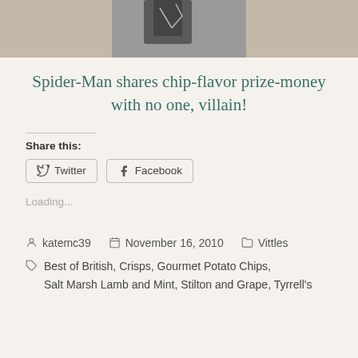[Figure (photo): Partial photo of what appears to be Spider-Man merchandise or figure on a brownish surface, cropped at top]
Spider-Man shares chip-flavor prize-money with no one, villain!
Share this:
Twitter  Facebook
Loading...
katemc39   November 16, 2010   Vittles
Best of British, Crisps, Gourmet Potato Chips, Salt Marsh Lamb and Mint, Stilton and Grape, Tyrrell's